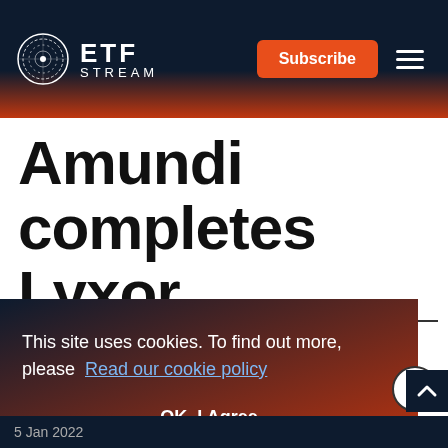ETF STREAM
Amundi completes Lyxor acquisition
This site uses cookies. To find out more, please Read our cookie policy
OK, I Agree
5 Jan 2022